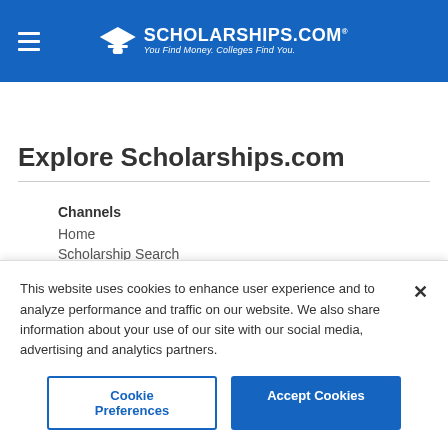[Figure (logo): Scholarships.com logo with graduation cap icon and tagline 'You Find Money. Colleges Find You.' on blue header background]
Explore Scholarships.com
Channels
Home
Scholarship Search
This website uses cookies to enhance user experience and to analyze performance and traffic on our website. We also share information about your use of our site with our social media, advertising and analytics partners.